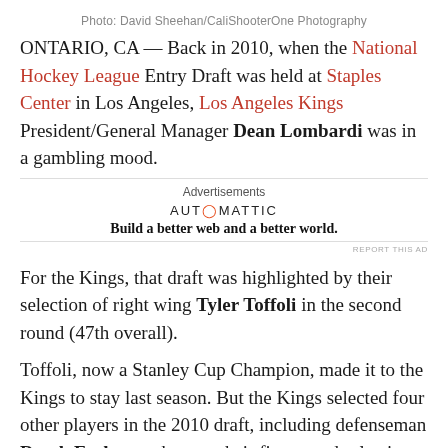Photo: David Sheehan/CaliShooterOne Photography
ONTARIO, CA — Back in 2010, when the National Hockey League Entry Draft was held at Staples Center in Los Angeles, Los Angeles Kings President/General Manager Dean Lombardi was in a gambling mood.
Advertisements
[Figure (other): Automattic advertisement: Build a better web and a better world.]
For the Kings, that draft was highlighted by their selection of right wing Tyler Toffoli in the second round (47th overall).
Toffoli, now a Stanley Cup Champion, made it to the Kings to stay last season. But the Kings selected four other players in the 2010 draft, including defenseman Derek Forbort, who was their first round selection (15th overall).